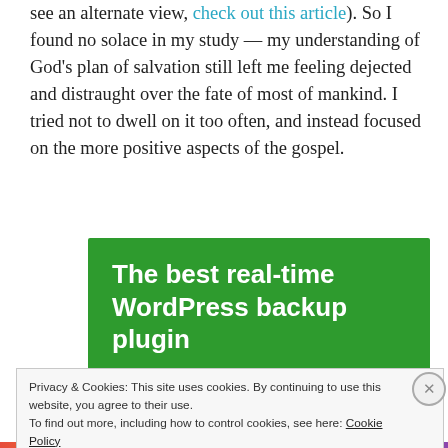see an alternate view, check out this article). So I found no solace in my study — my understanding of God's plan of salvation still left me feeling dejected and distraught over the fate of most of mankind. I tried not to dwell on it too often, and instead focused on the more positive aspects of the gospel.
[Figure (other): Green advertisement banner with white bold text reading: The best real-time WordPress backup plugin]
Privacy & Cookies: This site uses cookies. By continuing to use this website, you agree to their use.
To find out more, including how to control cookies, see here: Cookie Policy
Close and accept